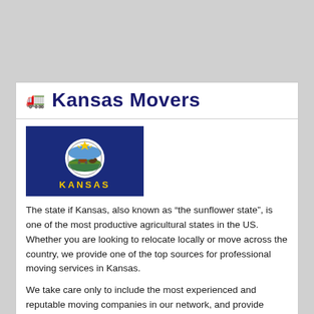🚛 Kansas Movers
[Figure (illustration): Kansas state flag - dark blue background with 'KANSAS' in yellow text and state seal in center]
The state if Kansas, also known as “the sunflower state”, is one of the most productive agricultural states in the US. Whether you are looking to relocate locally or move across the country, we provide one of the top sources for professional moving services in Kansas.
We take care only to include the most experienced and reputable moving companies in our network, and provide services that offer some of the lowest rates in the industry.